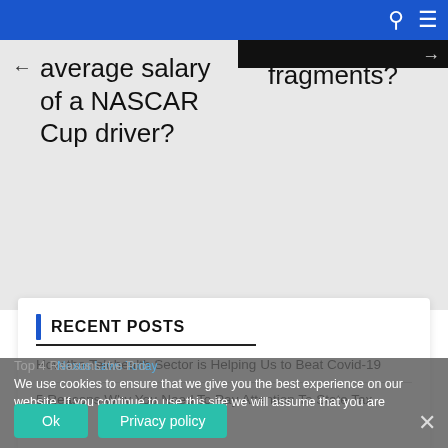average salary of a NASCAR Cup driver?
fragments?
RECENT POSTS
How the Telehealth Sector is Helping Us to Beat Covid-19
5 Reasons Why You Need To Pay Attention To State Tax Nexus Laws Today
Top 4 Reasons the Property Management Companies are Thriving
We use cookies to ensure that we give you the best experience on our website. If you continue to use this site we will assume that you are happy with it.